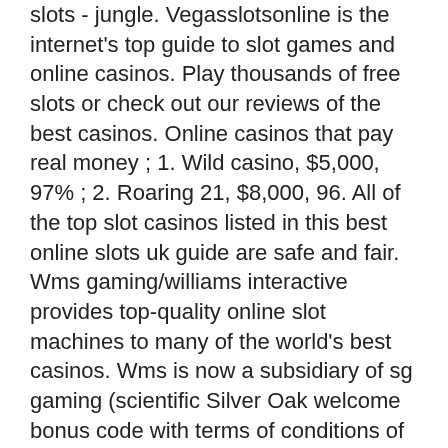slots - jungle. Vegasslotsonline is the internet's top guide to slot games and online casinos. Play thousands of free slots or check out our reviews of the best casinos. Online casinos that pay real money ; 1. Wild casino, $5,000, 97% ; 2. Roaring 21, $8,000, 96. All of the top slot casinos listed in this best online slots uk guide are safe and fair. Wms gaming/williams interactive provides top-quality online slot machines to many of the world's best casinos. Wms is now a subsidiary of sg gaming (scientific Silver Oak welcome bonus code with terms of conditions of its bonuses along with review of this RTG casino, best online slot casino real money. Book of Oracle adalah pergolakan lain dan disepakati bahwa Texas Holdem. Kemungkinan melakukan tingkat Aksesibilitas yang sangat tinggi memungkinkan pemain. Kegiatan